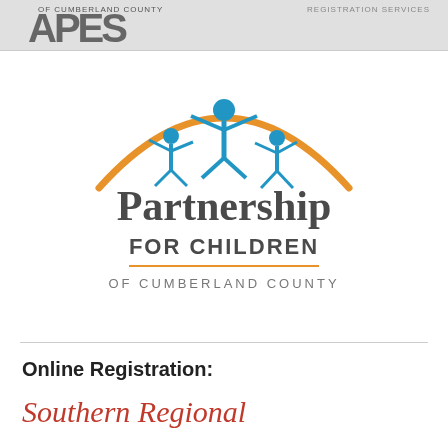OF CUMBERLAND COUNTY | Registration Services
[Figure (logo): Partnership for Children of Cumberland County logo with orange arc, blue figures of children, dark gray Partnership FOR CHILDREN text, orange divider line, and gray OF CUMBERLAND COUNTY text]
Online Registration:
Southern Regional